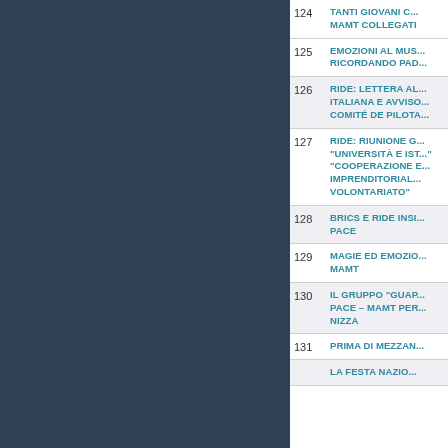124 TANTI GIOVANI C... MAMT COLLEGATI
125 EMOZIONI AL MUS... RICORDANDO PAD...
126 RIDE: LETTERA AL... ITALIANA E AVVISO... COMITÉ DE PILOTA...
127 RIDE: RIUNIONE G... "UNIVERSITÀ E IST..." "COOPERAZIONE E... IMPRENDITORIAL... VOLONTARIATO"
128 BRICS E RIDE INSI... PACE
129 MAGIE ED EMOZIO... MAMT
130 IL GRUPPO "GUAP... PACE – MAMT PER... NIZZA
131 PRIMA DI MEZZAN...
LA FESTA NAZIO...